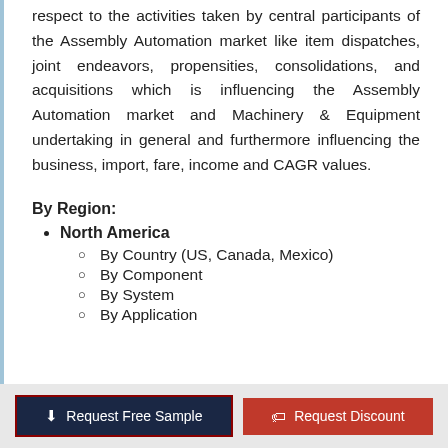respect to the activities taken by central participants of the Assembly Automation market like item dispatches, joint endeavors, propensities, consolidations, and acquisitions which is influencing the Assembly Automation market and Machinery & Equipment undertaking in general and furthermore influencing the business, import, fare, income and CAGR values.
By Region:
North America
By Country (US, Canada, Mexico)
By Component
By System
By Application